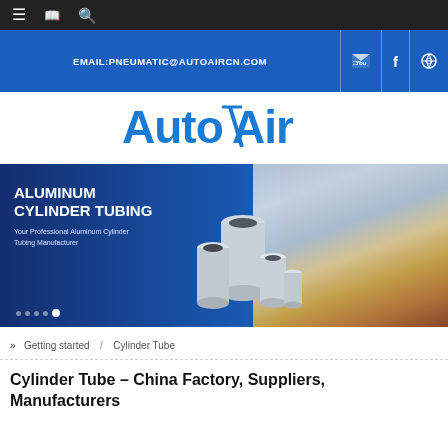Navigation bar with menu, book, and search icons
[Figure (screenshot): AutoAir website header with blue band showing social media icons (YouTube, Facebook, globe) and email: EMAIL:PNEUMATIC@AUTOAIRCN.COM]
[Figure (logo): AutoAir logo in blue stylized text]
[Figure (photo): Banner image: Aluminum Cylinder Tubing - Your Professional Aluminum Cylinder Tubing Manufacturer, showing aluminum cylinder tubes and factory background]
» Getting started / Cylinder Tube
Cylinder Tube – China Factory, Suppliers, Manufacturers